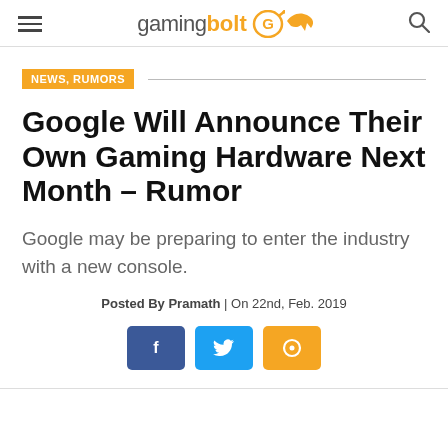gamingbolt
NEWS, RUMORS
Google Will Announce Their Own Gaming Hardware Next Month – Rumor
Google may be preparing to enter the industry with a new console.
Posted By Pramath | On 22nd, Feb. 2019